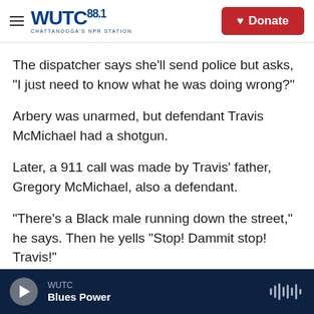WUTC 88.1 Chattanooga's NPR Station | Donate
The dispatcher says she'll send police but asks, "I just need to know what he was doing wrong?"
Arbery was unarmed, but defendant Travis McMichael had a shotgun.
Later, a 911 call was made by Travis' father, Gregory McMichael, also a defendant.
"There's a Black male running down the street," he says. Then he yells "Stop! Dammit stop! Travis!"
Seconds later you hear three shotgun blasts.
WUTC | Blues Power